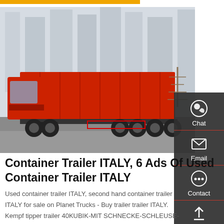[Figure (photo): Side view of a large red dump truck / tipper truck with multiple axles parked on a road with tall apartment buildings in the background.]
Container Trailer ITALY, 6 Ads Of Used Container Trailer ITALY
Used container trailer ITALY, second hand container trailer ITALY for sale on Planet Trucks - Buy trailer trailer ITALY.
Kempf tipper trailer 40KUBIK-MIT SCHNECKE-SCHLEUSE-